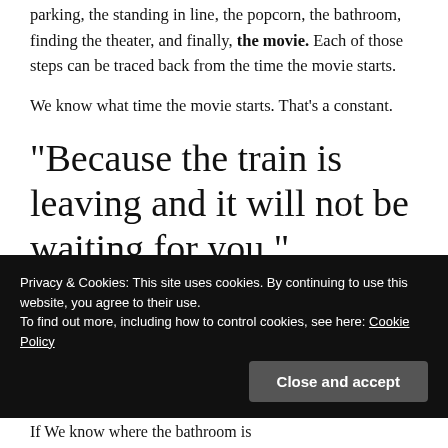parking, the standing in line, the popcorn, the bathroom, finding the theater, and finally, the movie. Each of those steps can be traced back from the time the movie starts.
We know what time the movie starts. That's a constant.
“Because the train is leaving and it will not be waiting for you.”
Privacy & Cookies: This site uses cookies. By continuing to use this website, you agree to their use.
To find out more, including how to control cookies, see here: Cookie Policy
Close and accept
If We know where the bathroom is